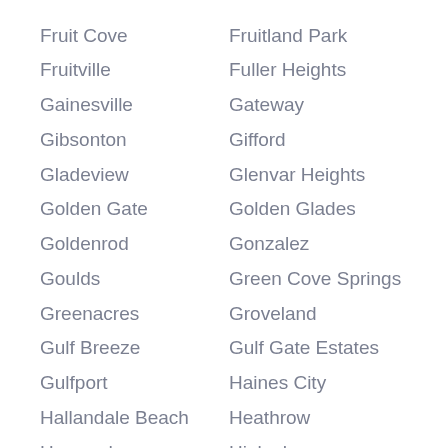Fruit Cove
Fruitland Park
Fruitville
Fuller Heights
Gainesville
Gateway
Gibsonton
Gifford
Gladeview
Glenvar Heights
Golden Gate
Golden Glades
Goldenrod
Gonzalez
Goulds
Green Cove Springs
Greenacres
Groveland
Gulf Breeze
Gulf Gate Estates
Gulfport
Haines City
Hallandale Beach
Heathrow
Hernando
Hialeah
Hialeah Gardens
High Springs